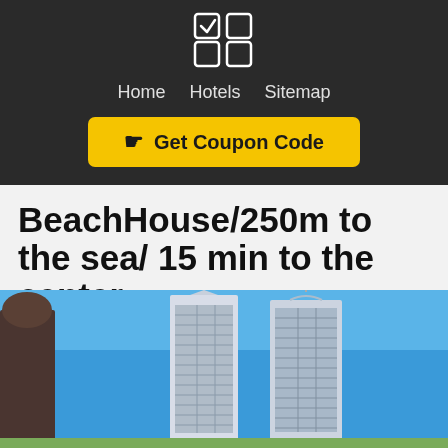[Figure (logo): App/website logo icon: four squares (2x2 grid) with top-left square containing a checkmark, rendered in white on dark background]
Home   Hotels   Sitemap
☛ Get Coupon Code
BeachHouse/250m to the sea/ 15 min to the center
Moo 9 Nongprue Pattaya, Thailand
[Figure (photo): Photo of two tall modern skyscraper towers against a clear blue sky, with partial view of a sculpture or statue on the left edge]